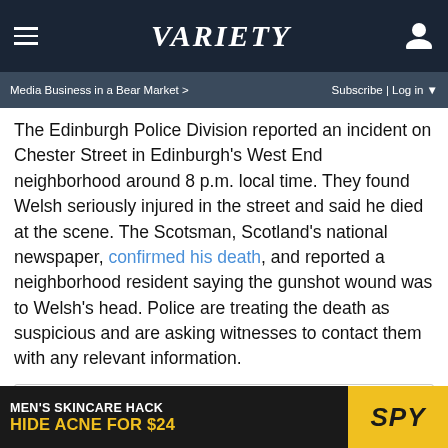VARIETY
Media Business in a Bear Market > | Subscribe | Log in
The Edinburgh Police Division reported an incident on Chester Street in Edinburgh's West End neighborhood around 8 p.m. local time. They found Welsh seriously injured in the street and said he died at the scene. The Scotsman, Scotland's national newspaper, confirmed his death, and reported a neighborhood resident saying the gunshot wound was to Welsh's head. Police are treating the death as suspicious and are asking witnesses to contact them with any relevant information.
[Figure (screenshot): Embedded Facebook post placeholder stating: This Facebook post is no longer available. It may have been removed or the privacy settings of the post may have changed.]
[Figure (infographic): Advertisement banner: MEN'S SKINCARE HACK - HIDE ACNE FOR $24 - SPY logo]